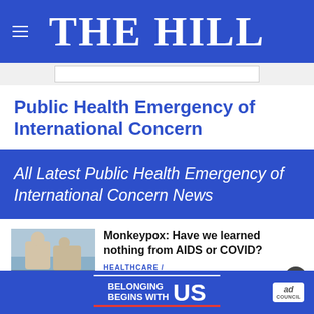THE HILL
Public Health Emergency of International Concern
All Latest Public Health Emergency of International Concern News
[Figure (photo): Photo thumbnail of a person receiving a medical examination or vaccine outdoors]
Monkeypox: Have we learned nothing from AIDS or COVID?
HEALTHCARE /
[Figure (infographic): Ad Council advertisement banner: BELONGING BEGINS WITH US]